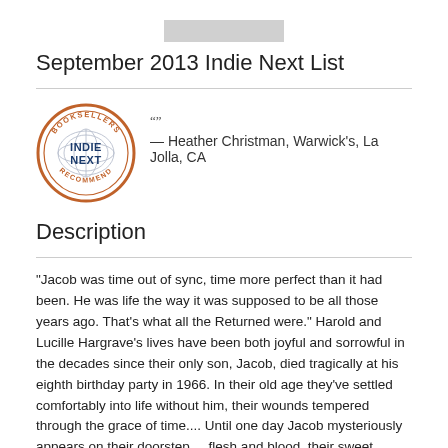[Figure (other): Gray placeholder image bar at top of page]
September 2013 Indie Next List
[Figure (logo): Indie Next Booksellers Recommend circular logo badge in orange and navy blue]
“”
— Heather Christman, Warwick’s, La Jolla, CA
Description
"Jacob was time out of sync, time more perfect than it had been. He was life the way it was supposed to be all those years ago. That's what all the Returned were." Harold and Lucille Hargrave's lives have been both joyful and sorrowful in the decades since their only son, Jacob, died tragically at his eighth birthday party in 1966. In their old age they've settled comfortably into life without him, their wounds tempered through the grace of time.... Until one day Jacob mysteriously appears on their doorstep ... flesh and blood, their sweet